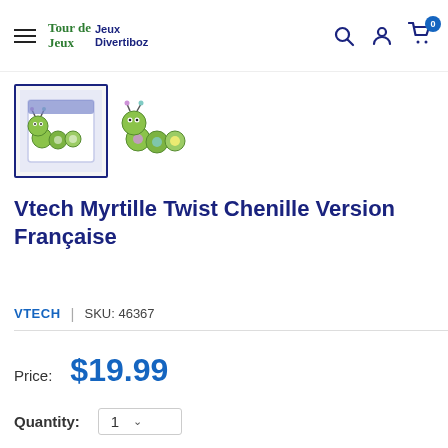Tour de Jeux | Jeux Divertiboz
[Figure (photo): Product thumbnail image of Vtech Myrtille Twist Chenille toy (selected, with blue border) showing box art with green caterpillar character]
[Figure (photo): Second product thumbnail showing the green caterpillar toy figure alone without box]
Vtech Myrtille Twist Chenille Version Française
VTECH | SKU: 46367
Price: $19.99
Quantity: 1